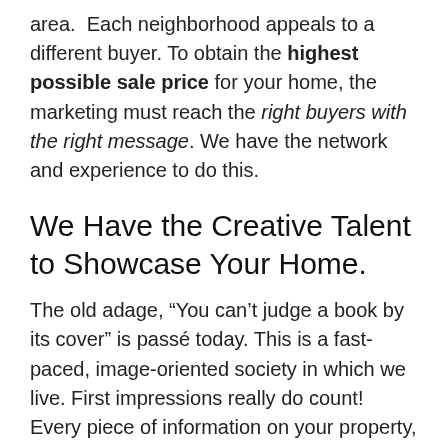area. Each neighborhood appeals to a different buyer. To obtain the highest possible sale price for your home, the marketing must reach the right buyers with the right message. We have the network and experience to do this.
We Have the Creative Talent to Showcase Your Home.
The old adage, "You can't judge a book by its cover" is passé today. This is a fast-paced, image-oriented society in which we live. First impressions really do count! Every piece of information on your property, whether it be a brochure, the wording in the Multiple Listing Service, a presence on the Internet, or a well-placed advertisement, must show your home in the